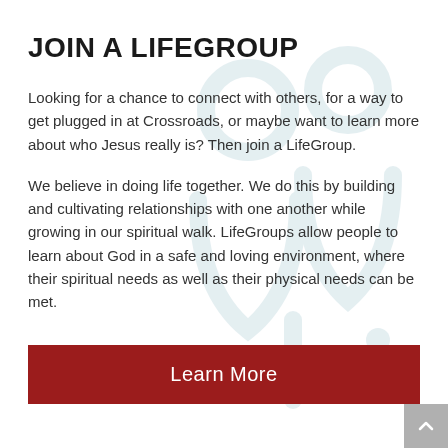[Figure (illustration): Light blue watermark-style illustration of two people silhouettes (community/group icon) in the background]
JOIN A LIFEGROUP
Looking for a chance to connect with others, for a way to get plugged in at Crossroads, or maybe want to learn more about who Jesus really is? Then join a LifeGroup.
We believe in doing life together. We do this by building and cultivating relationships with one another while growing in our spiritual walk. LifeGroups allow people to learn about God in a safe and loving environment, where their spiritual needs as well as their physical needs can be met.
Learn More